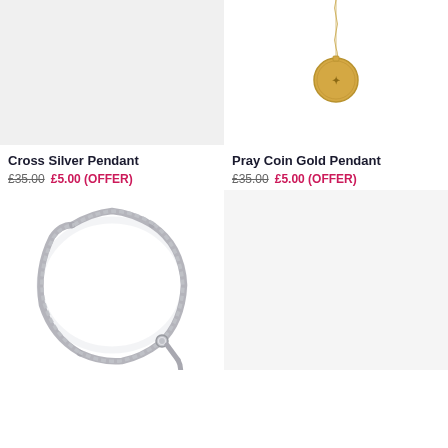[Figure (photo): Cross Silver Pendant product image on light grey background]
[Figure (photo): Pray Coin Gold Pendant necklace on white background showing gold chain and circular coin pendant]
Cross Silver Pendant
£35.00  £5.00 (OFFER)
Pray Coin Gold Pendant
£35.00  £5.00 (OFFER)
[Figure (photo): Silver curb chain bracelet on white background]
[Figure (photo): Product image placeholder on light grey background]